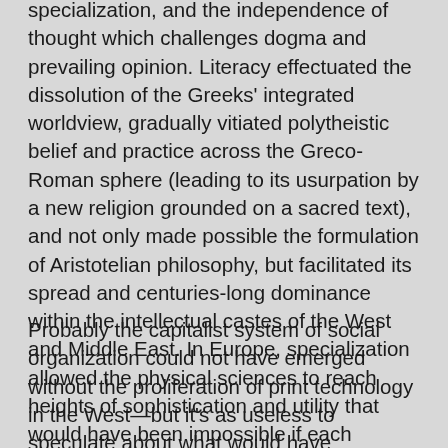specialization, and the independence of thought which challenges dogma and prevailing opinion. Literacy effectuated the dissolution of the Greeks' integrated worldview, gradually vitiated polytheistic belief and practice across the Greco-Roman sphere (leading to its usurpation by a new religion grounded on a sacred text), and not only made possible the formulation of Aristotelian philosophy, but facilitated its spread and centuries-long dominance within the intellectual castes of the West and Middle East. In Europe, specialization allowed the physical sciences to reach heights of sophistication and utility that would have been impossible if each discipline had been made to coordinate its advances with the rest—or if natural philosophy had remained wholly in service to exploring and authenticating the foregone conclusion of the Medieval Synthesis.
Probably the capitalist system of social organization could not have emerged without the proliferation of print technology in the West—but it's as useless to speculate about what would have happened if Gutenberg had perished in the crib as it is difficult to imagine how circumstances in fifteenth- or sixteenth-century Europe could have altogether